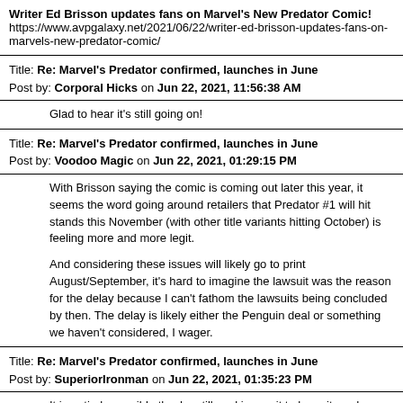Writer Ed Brisson updates fans on Marvel's New Predator Comic!
https://www.avpgalaxy.net/2021/06/22/writer-ed-brisson-updates-fans-on-marvels-new-predator-comic/
Title: Re: Marvel's Predator confirmed, launches in June
Post by: Corporal Hicks on Jun 22, 2021, 11:56:38 AM
Glad to hear it's still going on!
Title: Re: Marvel's Predator confirmed, launches in June
Post by: Voodoo Magic on Jun 22, 2021, 01:29:15 PM
With Brisson saying the comic is coming out later this year, it seems the word going around retailers that Predator #1 will hit stands this November (with other title variants hitting October) is feeling more and more legit.
And considering these issues will likely go to print August/September, it's hard to imagine the lawsuit was the reason for the delay because I can't fathom the lawsuits being concluded by then. The delay is likely either the Penguin deal or something we haven't considered, I wager.
Title: Re: Marvel's Predator confirmed, launches in June
Post by: SuperiorIronman on Jun 22, 2021, 01:35:23 PM
It is entirely possible they're still working on it to have it ready